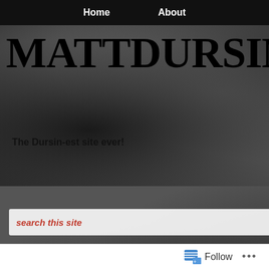Home   About
MATTDURSIN.COM
The Dursin-est site ever!
search this site
RECENT POSTS
30 Day film Challenge – Day 30
30 Day Film Challenge – Day 29
30 Day Film Challenge – Day 28
30 Da
Posted: July 9
The end of the road.
Follow ...